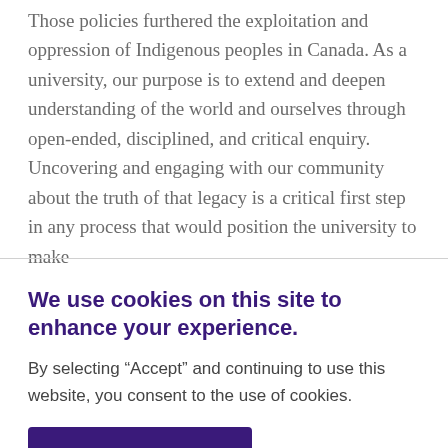Those policies furthered the exploitation and oppression of Indigenous peoples in Canada. As a university, our purpose is to extend and deepen understanding of the world and ourselves through open-ended, disciplined, and critical enquiry. Uncovering and engaging with our community about the truth of that legacy is a critical first step in any process that would position the university to make
We use cookies on this site to enhance your experience.
By selecting “Accept” and continuing to use this website, you consent to the use of cookies.